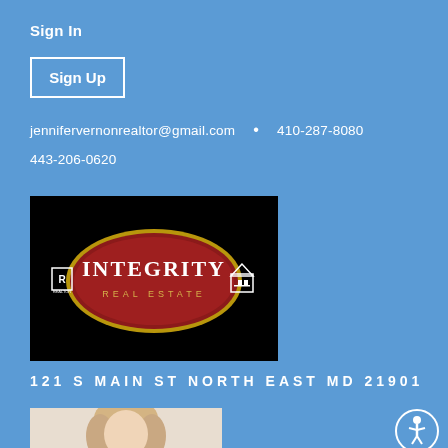Sign In
Sign Up
jennifervernonrealtor@gmail.com  •  410-287-8080
443-206-0620
[Figure (logo): Integrity Real Estate logo on black background with red oval, Realtor R symbol on left and equal housing icon on right]
121 S MAIN ST NORTH EAST MD 21901
[Figure (photo): Partial photo of a woman with blonde hair on light beige background]
[Figure (illustration): Accessibility icon circle]